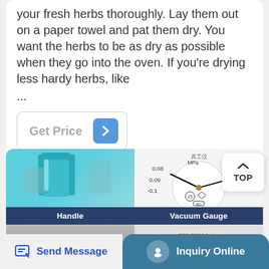your fresh herbs thoroughly. Lay them out on a paper towel and pat them dry. You want the herbs to be as dry as possible when they go into the oven. If you're drying less hardy herbs, like
...
Get Price
[Figure (photo): Handle - teal/turquoise colored handle component]
[Figure (photo): Vacuum Gauge showing MPa readings: 0.08, 0.09, -0.1 on left side and 0.02, 0.01 on right side]
Handle
Vacuum Gauge
[Figure (photo): Bottom left product detail image]
[Figure (photo): Bottom right product detail with label text TOD-80000 Series]
Send Message
Inquiry Online